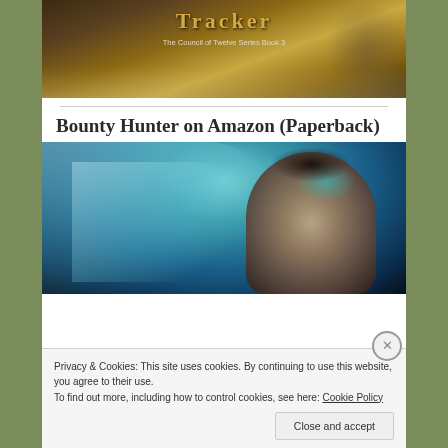[Figure (illustration): Top portion of a fantasy book cover for 'Tracker - The Council of Twelve Series Book 3', showing golden title text on a dark ornate background]
[Figure (illustration): Bottom book cover image showing a young man's face with teal/turquoise skin markings against swirling blue-green water-like background - for 'Bounty Hunter on Amazon (Paperback)']
Bounty Hunter on Amazon (Paperback)
Privacy & Cookies: This site uses cookies. By continuing to use this website, you agree to their use.
To find out more, including how to control cookies, see here: Cookie Policy
Close and accept